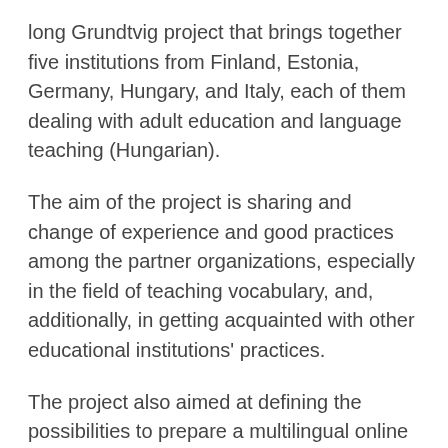long Grundtvig project that brings together five institutions from Finland, Estonia, Germany, Hungary, and Italy, each of them dealing with adult education and language teaching (Hungarian).
The aim of the project is sharing and change of experience and good practices among the partner organizations, especially in the field of teaching vocabulary, and, additionally, in getting acquainted with other educational institutions' practices.
The project also aimed at defining the possibilities to prepare a multilingual online glossary and an exercise package for Hungarian.The partners have previous experience of preparing materials for teaching and learning Hungarian during the projects  Survival.hu and Te-Le-Hu.